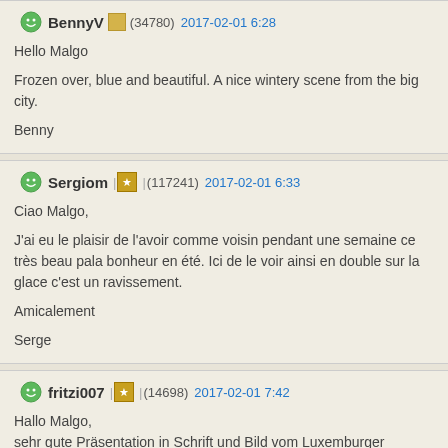BennyV (34780) 2017-02-01 6:28
Hello Malgo

Frozen over, blue and beautiful. A nice wintery scene from the big city.

Benny
Sergiom (117241) 2017-02-01 6:33
Ciao Malgo,

J'ai eu le plaisir de l'avoir comme voisin pendant une semaine ce très beau pala bonheur en été. Ici de le voir ainsi en double sur la glace c'est un ravissement.

Amicalement

Serge
fritzi007 (14698) 2017-02-01 7:42
Hallo Malgo,
sehr gute Präsentation in Schrift und Bild vom Luxemburger Schloss, gut gema

Viele Grüße
Wolfgang